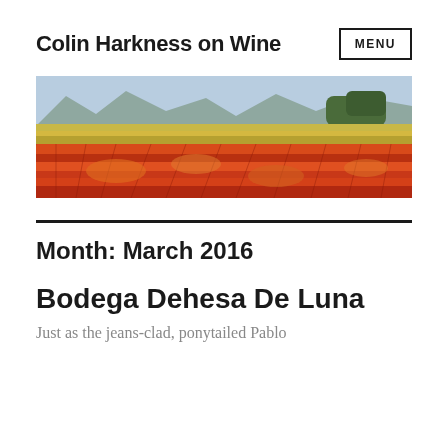Colin Harkness on Wine
[Figure (photo): Panoramic photo of a vineyard in autumn with red and orange foliage, rows of vines, and mountains in the background under a blue sky.]
Month: March 2016
Bodega Dehesa De Luna
Just as the jeans-clad, ponytailed Pablo